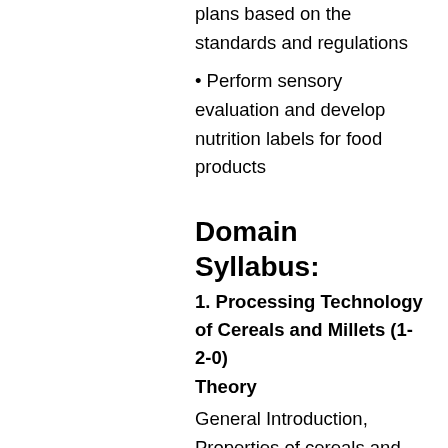plans based on the standards and regulations
• Perform sensory evaluation and develop nutrition labels for food products
Domain Syllabus:
1. Processing Technology of Cereals and Millets (1-2-0)
Theory
General Introduction, Properties of cereals and millets, Paddy Processing, Parboiling of paddy, Drying, Wheat processing, Corn milling, Malting of cereals, Rice fortification, etc.